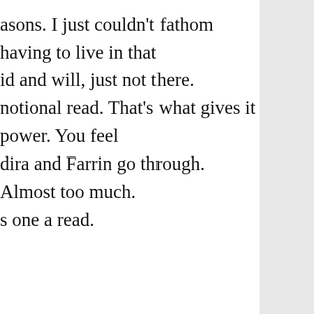asons. I just couldn't fathom having to live in that id and will, just not there. notional read. That's what gives it power. You feel dira and Farrin go through. Almost too much. s one a read.
[LL]
n rendition, Deborah Ellis creates characters that Ann of Green Gable types. Farrin is a defiant en with a razor sharp mind who hates her mom. ories, she has no goals until she meets Sadira, a l who comes to the aid of all. A friendship flames ove. Then counter to every warning, the pair plot to ng vexed the detested school prefix, Farrin attracts